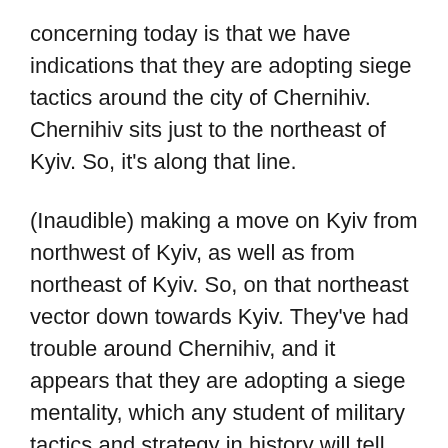concerning today is that we have indications that they are adopting siege tactics around the city of Chernihiv. Chernihiv sits just to the northeast of Kyiv. So, it's along that line.
(Inaudible) making a move on Kyiv from northwest of Kyiv, as well as from northeast of Kyiv. So, on that northeast vector down towards Kyiv. They've had trouble around Chernihiv, and it appears that they are adopting a siege mentality, which any student of military tactics and strategy in history will tell you when you adopt siege tactics, it increases the likelihood of collateral damage to civilian infrastructure as well as to civilian life. Because a siege, it basically